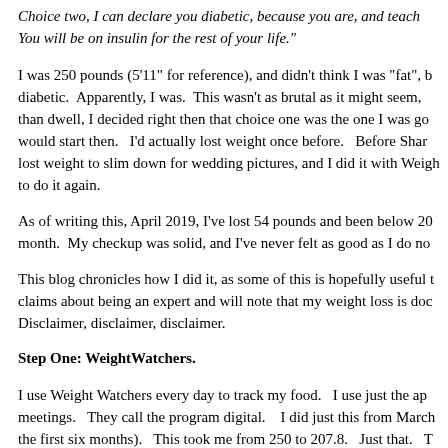Choice two, I can declare you diabetic, because you are, and teach You will be on insulin for the rest of your life."
I was 250 pounds (5'11" for reference), and didn't think I was "fat", b diabetic.  Apparently, I was.  This wasn't as brutal as it might seem, than dwell, I decided right then that choice one was the one I was go would start then.   I'd actually lost weight once before.   Before Shar lost weight to slim down for wedding pictures, and I did it with Weigh to do it again.
As of writing this, April 2019, I've lost 54 pounds and been below 20 month.  My checkup was solid, and I've never felt as good as I do no
This blog chronicles how I did it, as some of this is hopefully useful t claims about being an expert and will note that my weight loss is doc  Disclaimer, disclaimer, disclaimer.
Step One: WeightWatchers.
I use Weight Watchers every day to track my food.   I use just the ap meetings.   They call the program digital.    I did just this from March the first six months).  This took me from 250 to 207.8.   Just that.  T the freestyle points option, which includes free food items that I can allocation of points to use, as well as a weekly allocation to use duri